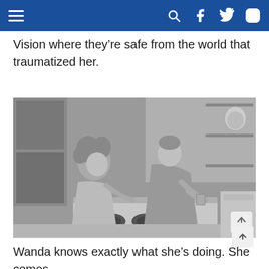Navigation header with hamburger menu, search, Facebook, Twitter, Instagram icons
Vision where they’re safe from the world that traumatized her.
[Figure (photo): Black and white still from WandaVision showing a woman (Wanda) and a man (Vision) leaning toward each other across a kitchen counter/stove in a 1950s-style kitchen set]
Wanda knows exactly what she’s doing. She comes